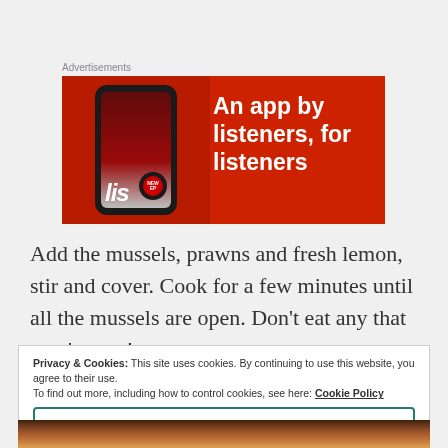Advertisements
[Figure (illustration): Red advertisement banner for a music/podcast app featuring a smartphone with 'listen' branding and text reading 'An app by listeners, for listeners']
Add the mussels, prawns and fresh lemon, stir and cover. Cook for a few minutes until all the mussels are open. Don’t eat any that won’t open!
Privacy & Cookies: This site uses cookies. By continuing to use this website, you agree to their use.
To find out more, including how to control cookies, see here: Cookie Policy
Close and accept
[Figure (photo): Food photograph showing mussels and seafood dish at the bottom of the page]